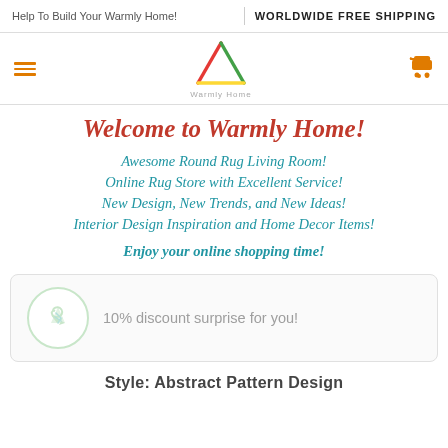Help To Build Your Warmly Home!   WORLDWIDE FREE SHIPPING
[Figure (logo): Warmly Home logo with colorful triangle and text]
Welcome to Warmly Home!
Awesome Round Rug Living Room!
Online Rug Store with Excellent Service!
New Design, New Trends, and New Ideas!
Interior Design Inspiration and Home Decor Items!
Enjoy your online shopping time!
10% discount surprise for you!
Style: Abstract Pattern Design